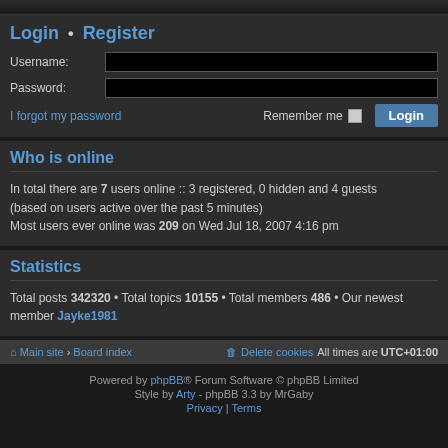Login • Register
Username:
Password:
I forgot my password   Remember me  Login
Who is online
In total there are 7 users online :: 3 registered, 0 hidden and 4 guests (based on users active over the past 5 minutes)
Most users ever online was 209 on Wed Jul 18, 2007 4:16 pm
Statistics
Total posts 342320 • Total topics 10155 • Total members 486 • Our newest member Jayke1981
Main site › Board index   Delete cookies   All times are UTC+01:00
Powered by phpBB® Forum Software © phpBB Limited
Style by Arty - phpBB 3.3 by MrGaby
Privacy | Terms